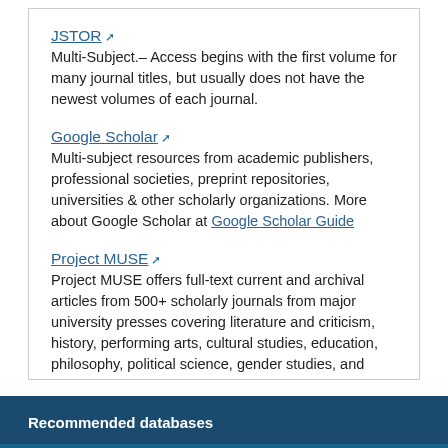JSTOR — Multi-Subject.– Access begins with the first volume for many journal titles, but usually does not have the newest volumes of each journal.
Google Scholar — Multi-subject resources from academic publishers, professional societies, preprint repositories, universities & other scholarly organizations. More about Google Scholar at Google Scholar Guide
Project MUSE — Project MUSE offers full-text current and archival articles from 500+ scholarly journals from major university presses covering literature and criticism, history, performing arts, cultural studies, education, philosophy, political science, gender studies, and more. Updated continually.
Recommended databases